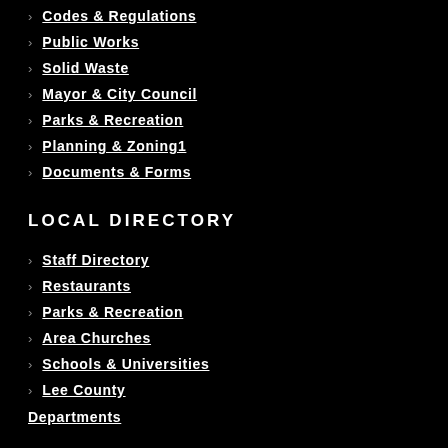Codes & Regulations
Public Works
Solid Waste
Mayor & City Council
Parks & Recreation
Planning & Zoning1
Documents & Forms
LOCAL DIRECTORY
Staff Directory
Restaurants
Parks & Recreation
Area Churches
Schools & Universities
Lee County
Departments